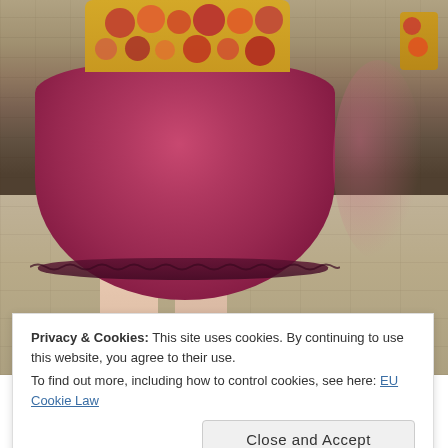[Figure (photo): A person wearing a colorful circle-patterned knitted jumper and a puffy magenta/purple tulle skirt, standing on stone pavement with a stone wall in the background. Only the torso and legs are visible.]
Privacy & Cookies: This site uses cookies. By continuing to use this website, you agree to their use.
To find out more, including how to control cookies, see here: EU Cookie Law
Circles Jumper by Sian Brown